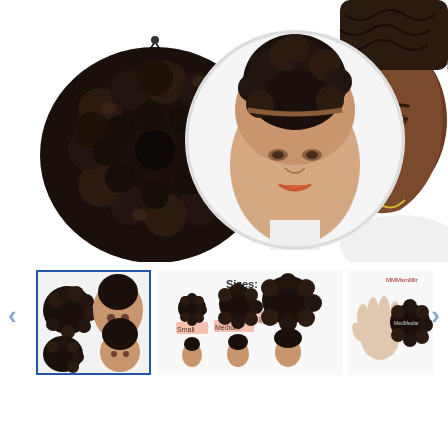[Figure (photo): Product images showing a curly afro puff hair bun extension on the left (close-up of the bun piece itself), center-top showing a mannequin head wearing the curly puff as a headband style bun (in a circular cropped inset), and right side showing a woman of color with braided hair wearing the puff. White background.]
[Figure (photo): Row of product thumbnail images. First thumbnail (selected, blue border): collage of bun piece and mannequin wearing it. Second thumbnail: size comparison chart showing Small, Medium, Large afro puff sizes with mannequin heads modeling each. Third thumbnail: hand holding the bun piece next to label text.]